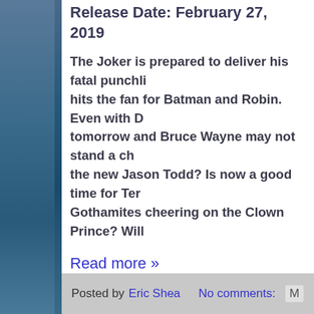Release Date: February 27, 2019
The Joker is prepared to deliver his fatal punchline as all hell hits the fan for Batman and Robin. Even with D tomorrow and Bruce Wayne may not stand a ch the new Jason Todd? Is now a good time for Ter Gothamites cheering on the Clown Prince? Will
Read more »
Posted by Eric Shea   No comments: